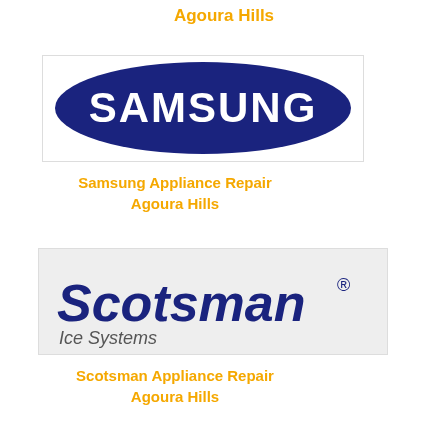Agoura Hills
[Figure (logo): Samsung logo — dark blue oval/ellipse with white bold SAMSUNG text]
Samsung Appliance Repair
Agoura Hills
[Figure (logo): Scotsman Ice Systems logo — italic bold blue Scotsman text with registered mark, and 'Ice Systems' in italic below, on light grey background]
Scotsman Appliance Repair
Agoura Hills